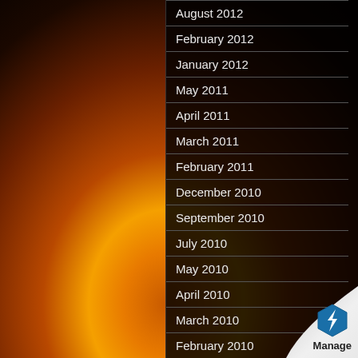[Figure (photo): Dark background with orange and yellow fire flames on the left side of the page.]
August 2012
February 2012
January 2012
May 2011
April 2011
March 2011
February 2011
December 2010
September 2010
July 2010
May 2010
April 2010
March 2010
February 2010
[Figure (logo): Page curl effect in bottom right corner with Manage logo showing a blue hexagon icon and the word Manage below it.]